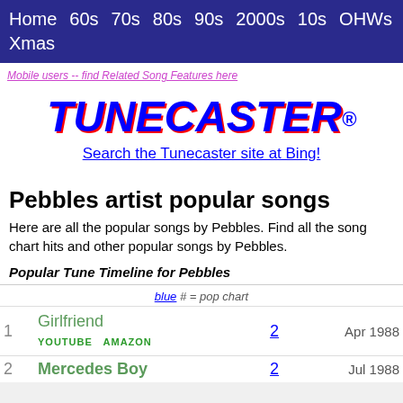Home 60s 70s 80s 90s 2000s 10s OHWs Inst Xmas
Mobile users -- find Related Song Features here
TUNECASTER®
Search the Tunecaster site at Bing!
Pebbles artist popular songs
Here are all the popular songs by Pebbles. Find all the song chart hits and other popular songs by Pebbles.
Popular Tune Timeline for Pebbles
blue # = pop chart
| # | Song |  | Chart# | Date |
| --- | --- | --- | --- | --- |
| 1 | Girlfriend | YOUTUBE  AMAZON | 2 | Apr 1988 |
| 2 | Mercedes Boy |  | 2 | Jul 1988 |